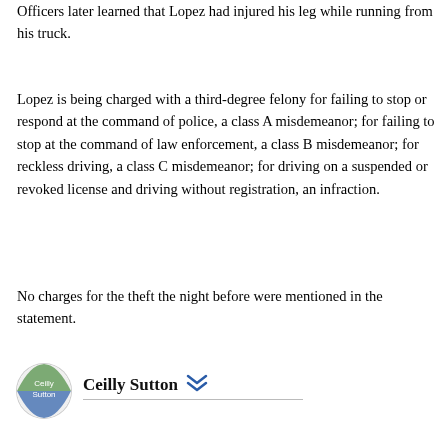Officers later learned that Lopez had injured his leg while running from his truck.
Lopez is being charged with a third-degree felony for failing to stop or respond at the command of police, a class A misdemeanor; for failing to stop at the command of law enforcement, a class B misdemeanor; for reckless driving, a class C misdemeanor; for driving on a suspended or revoked license and driving without registration, an infraction.
No charges for the theft the night before were mentioned in the statement.
Ceilly Sutton